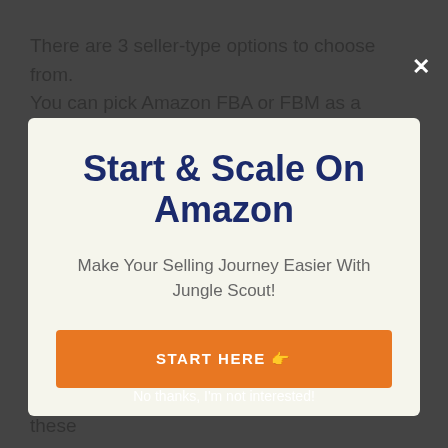There are 3 seller-type options to choose from. You can pick Amazon FBA or FBM as a vendor.
Start & Scale On Amazon
Make Your Selling Journey Easier With Jungle Scout!
START HERE 👉
No thanks, I'm not interested!
Tracker device. This tool tracks the performance of all the products you've included. Using this device, you can keep an eye on the sales of these